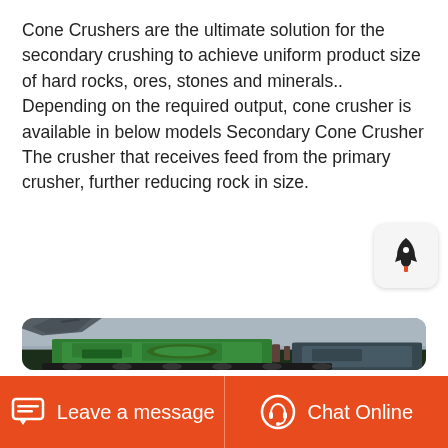Cone Crushers are the ultimate solution for the secondary crushing to achieve uniform product size of hard rocks, ores, stones and minerals.. Depending on the required output, cone crusher is available in below models Secondary Cone Crusher The crusher that receives feed from the primary crusher, further reducing rock in size.
Get Price
[Figure (photo): Photograph of a green cone crusher machine against a grey sky background, with part of an excavator arm visible at the top left.]
Leave a message   Chat Online